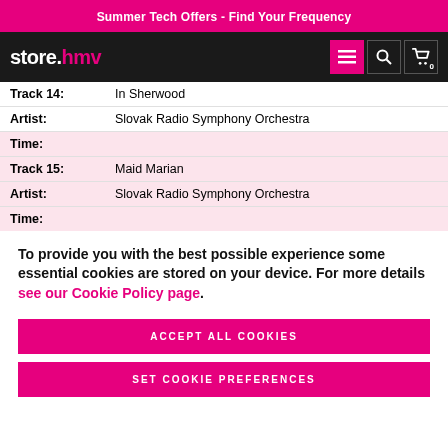Summer Tech Offers - Find Your Frequency
[Figure (logo): store.hmv logo with navigation icons on dark background]
| Track 14: | In Sherwood |
| Artist: | Slovak Radio Symphony Orchestra |
| Time: |  |
| Track 15: | Maid Marian |
| Artist: | Slovak Radio Symphony Orchestra |
| Time: |  |
To provide you with the best possible experience some essential cookies are stored on your device. For more details see our Cookie Policy page.
ACCEPT ALL COOKIES
SET COOKIE PREFERENCES